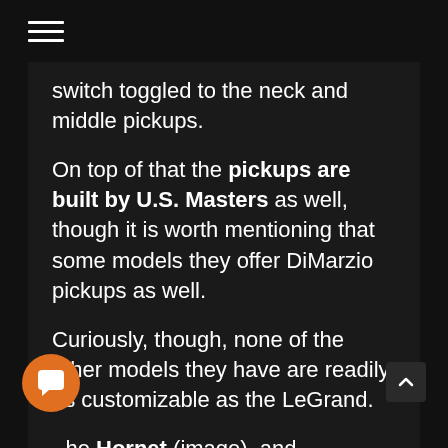≡
switch toggled to the neck and middle pickups.
On top of that the pickups are built by U.S. Masters as well, though it is worth mentioning that some models they offer DiMarzio pickups as well.
Curiously, though, none of the other models they have are readily as customizable as the LeGrand.
The Hornet (image), and Blackhawk (image) for example all fill in the...